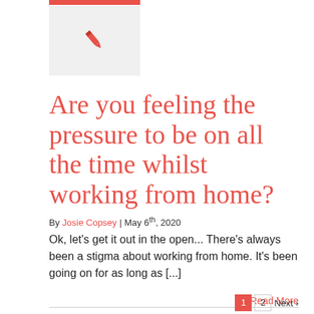[Figure (illustration): Pink/red pen icon on a light grey background box with a red top bar]
Are you feeling the pressure to be on all the time whilst working from home?
By Josie Copsey | May 6th, 2020
Ok, let's get it out in the open... There's always been a stigma about working from home. It's been going on for as long as [...]
Read More
1  2  Next >